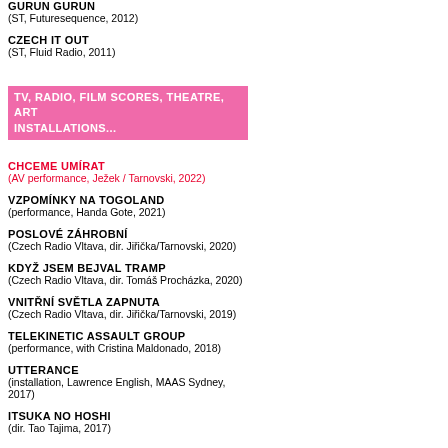GURUN GURUN
(ST, Futuresequence, 2012)
CZECH IT OUT
(ST, Fluid Radio, 2011)
TV, RADIO, FILM SCORES, THEATRE, ART INSTALLATIONS...
CHCEME UMÍRAT
(AV performance, Ježek / Tarnovski, 2022)
VZPOMÍNKY NA TOGOLAND
(performance, Handa Gote, 2021)
POSLOVÉ ZÁHROBNÍ
(Czech Radio Vltava, dir. Jiřička/Tarnovski, 2020)
KDYŽ JSEM BEJVAL TRAMP
(Czech Radio Vltava, dir. Tomáš Procházka, 2020)
VNITŘNÍ SVĚTLA ZAPNUTA
(Czech Radio Vltava, dir. Jiřička/Tarnovski, 2019)
TELEKINETIC ASSAULT GROUP
(performance, with Cristina Maldonado, 2018)
UTTERANCE
(installation, Lawrence English, MAAS Sydney, 2017)
ITSUKA NO HOSHI
(dir. Tao Tajima, 2017)
2019 Jan 10 Wakkushopu, Procházka, Pr...
2018 Nov 25 @ Punctum, Prague, CZ, A...
2018 Nov 24 @ Punctum, CZ, AV RITUA...
2018 Nov 22 @ Divadlo 29, RITUAL
2018 Nov 17 2018, Legnica...
2018 Sep 25 Gallery, Hrade...
2018 Jun 17 Haco, Stuar...